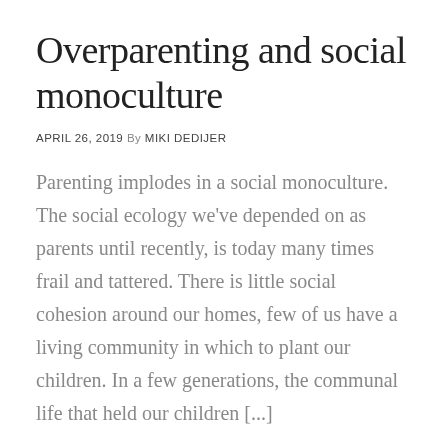Overparenting and social monoculture
APRIL 26, 2019 By MIKI DEDIJER
Parenting implodes in a social monoculture. The social ecology we've depended on as parents until recently, is today many times frail and tattered. There is little social cohesion around our homes, few of us have a living community in which to plant our children. In a few generations, the communal life that held our children [...]